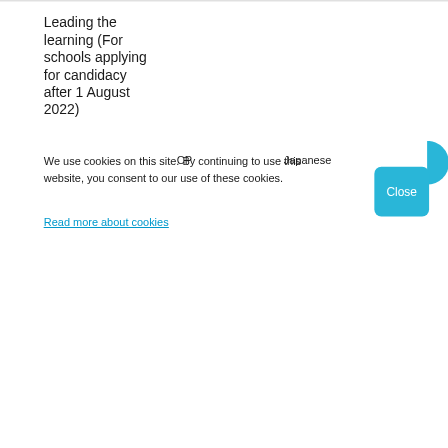Leading the learning (For schools applying for candidacy after 1 August 2022)
CP
Japanese
We use cookies on this site. By continuing to use this website, you consent to our use of these cookies.
Read more about cookies